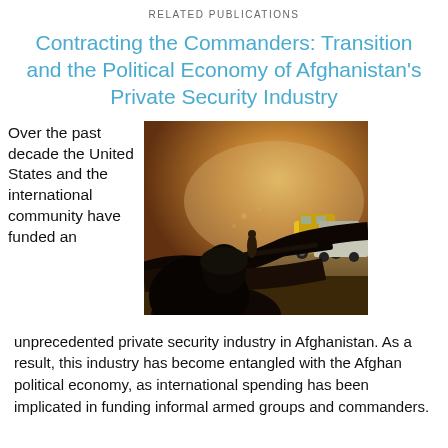RELATED PUBLICATIONS
Contracting the Commanders: Transition and the Political Economy of Afghanistan's Private Security Industry
Over the past decade the United States and the international community have funded an
[Figure (photo): A soldier or armed person in silhouette viewed from behind, holding a weapon, with a dusty road scene and a yellow taxi cab visible in the background.]
unprecedented private security industry in Afghanistan. As a result, this industry has become entangled with the Afghan political economy, as international spending has been implicated in funding informal armed groups and commanders.